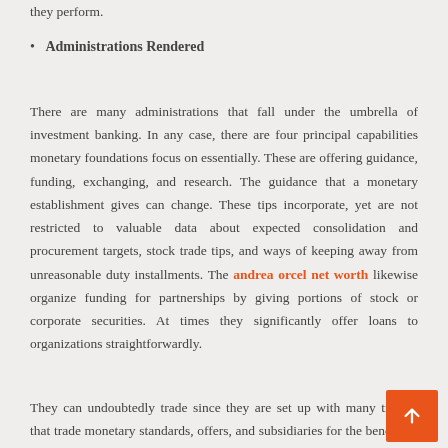they perform.
Administrations Rendered
There are many administrations that fall under the umbrella of investment banking. In any case, there are four principal capabilities monetary foundations focus on essentially. These are offering guidance, funding, exchanging, and research. The guidance that a monetary establishment gives can change. These tips incorporate, yet are not restricted to valuable data about expected consolidation and procurement targets, stock trade tips, and ways of keeping away from unreasonable duty installments. The andrea orcel net worth likewise organize funding for partnerships by giving portions of stock or corporate securities. At times they significantly offer loans to organizations straightforwardly.
They can undoubtedly trade since they are set up with many traders that trade monetary standards, offers, and subsidiaries for the benefit of clients, or for their own